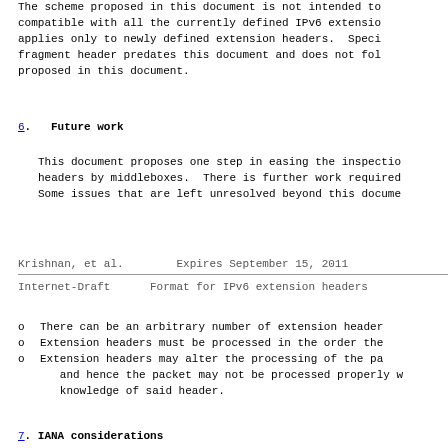The scheme proposed in this document is not intended to be compatible with all the currently defined IPv6 extension headers. It applies only to newly defined extension headers. Specifically, the fragment header predates this document and does not follow the format proposed in this document.
6.  Future work
This document proposes one step in easing the inspection of extension headers by middleboxes. There is further work required in this area. Some issues that are left unresolved beyond this document are:
Krishnan, et al.        Expires September 15, 2011
Internet-Draft       Format for IPv6 extension headers
There can be an arbitrary number of extension headers in a packet.
Extension headers must be processed in the order they appear.
Extension headers may alter the processing of the packet data, and hence the packet may not be processed properly without knowledge of said header.
7.  IANA considerations